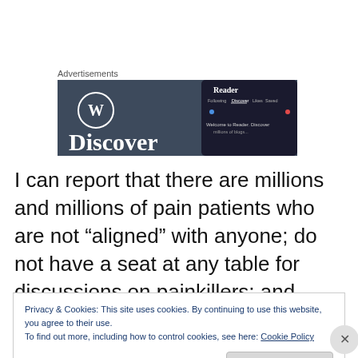Advertisements
[Figure (screenshot): WordPress 'Discover' advertisement banner showing WordPress logo and a phone mockup with Reader interface]
I can report that there are millions and millions of pain patients who are not “aligned” with anyone; do not have a seat at any table for discussions on painkillers; and have
Privacy & Cookies: This site uses cookies. By continuing to use this website, you agree to their use.
To find out more, including how to control cookies, see here: Cookie Policy
Close and accept